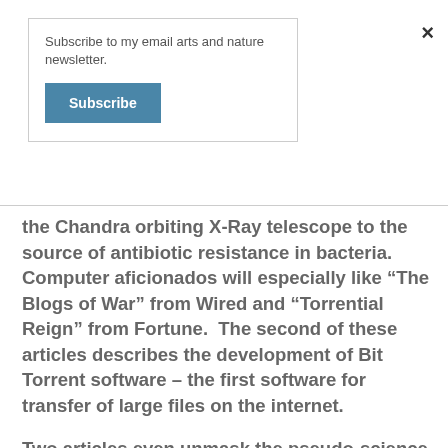Subscribe to my email arts and nature newsletter.
Subscribe
the Chandra orbiting X-Ray telescope to the source of antibiotic resistance in bacteria. Computer aficionados will especially like “The Blogs of War” from Wired and “Torrential Reign” from Fortune.  The second of these articles describes the development of Bit Torrent software – the first software for transfer of large files on the internet.
Two articles even unmask the pseudo-science intelligent design.  In “Show me the Science,” from the New York Times, Daniel C. Dennett quotes intelligent design proponent and affiliate of the Discovery Institute, George